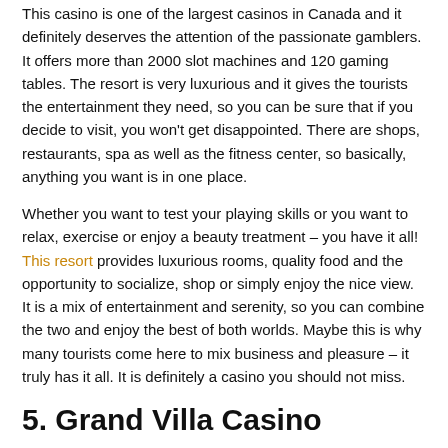This casino is one of the largest casinos in Canada and it definitely deserves the attention of the passionate gamblers. It offers more than 2000 slot machines and 120 gaming tables. The resort is very luxurious and it gives the tourists the entertainment they need, so you can be sure that if you decide to visit, you won't get disappointed. There are shops, restaurants, spa as well as the fitness center, so basically, anything you want is in one place.
Whether you want to test your playing skills or you want to relax, exercise or enjoy a beauty treatment – you have it all! This resort provides luxurious rooms, quality food and the opportunity to socialize, shop or simply enjoy the nice view. It is a mix of entertainment and serenity, so you can combine the two and enjoy the best of both worlds. Maybe this is why many tourists come here to mix business and pleasure – it truly has it all. It is definitely a casino you should not miss.
5. Grand Villa Casino